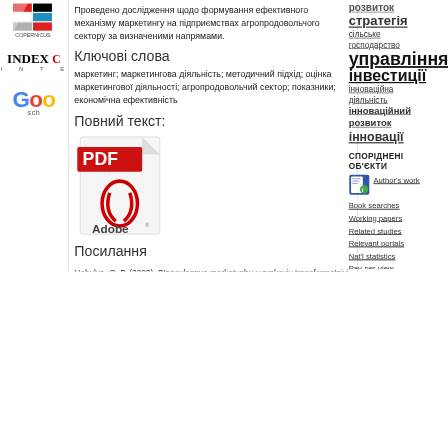[Figure (logo): Colorful logo strips (red, black, white, teal) at top left]
[Figure (logo): INDEX Copernicus logo with letters I N T E below]
[Figure (logo): Google Scholar logo showing 'Goo' and 'sch' text]
Проведено дослідження щодо формування ефективного механізму маркетингу на підприємствах агропродовольчого сектору за визначеними напрямами.
Ключові слова
маркетинг; маркетингова діяльність; методичний підхід; оцінка маркетингової діяльності; агропродовольчий сектор; показники; економічна ефективність
Повний текст:
[Figure (illustration): Adobe PDF icon - red PDF label on white document with Adobe Reader logo]
Посилання
Hohulya, O. P. (2002). Stanovlennya marketynhu u rynkoviy transformatsiyi sil's'koho hospodarstva. Ekonomika APK, 5,110-114.
розвиток стратегія сільське господарство управління інвестиції інноваційна діяльність інноваційний розвиток інновації
СПОРІДНЕНІ ОБ'ЄКТИ
Author's work
Book searches
Working papers
Related studies
Relevant portals
Nat'l statistics
Pay-per-view
Online forums
Teaching files
Government